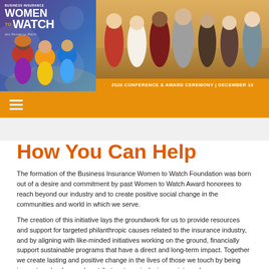[Figure (photo): Business Insurance Women to Watch banner with illustrated women figures on left (purple/blue background) and photo of group of women at conference on right, with orange bar reading '2020 CONFERENCE & AWARD CEREMONY | DECEMBER 10']
≡
How You Can Help
The formation of the Business Insurance Women to Watch Foundation was born out of a desire and commitment by past Women to Watch Award honorees to reach beyond our industry and to create positive social change in the communities and world in which we serve.
The creation of this initiative lays the groundwork for us to provide resources and support for targeted philanthropic causes related to the insurance industry, and by aligning with like-minded initiatives working on the ground, financially support sustainable programs that have a direct and long-term impact. Together we create lasting and positive change in the lives of those we touch by being innovators, leaders and contributors to an inclusive society and a